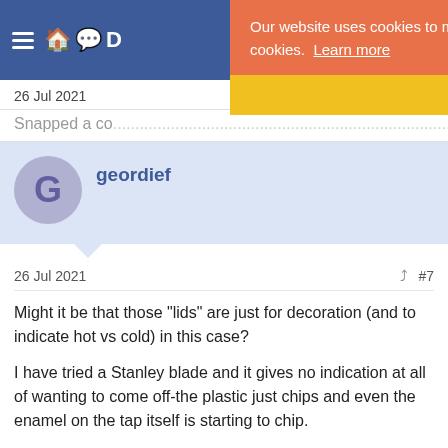Navigation bar with hamburger menu and icons
Our website uses cookies to make your browsing experience better. By continuing, you are consenting to our use of cookies. Learn more
Accept
26 Jul 2021
Snapped a co...
geordief
26 Jul 2021  #7
Might it be that those "lids" are just for decoration (and to indicate hot vs cold) in this case?
I have tried a Stanley blade and it gives no indication at all of wanting to come off-the plastic just chips and even the enamel on the tap itself is starting to chip.
It can't be the spanner job can it ?(I tried that also in the past and it didn't seem to disassemble the tap either, although it did